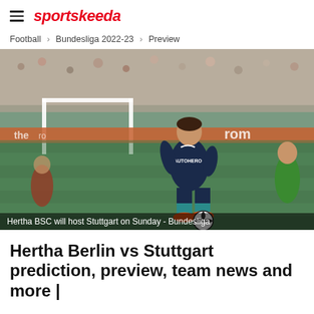sportskeeda
Football > Bundesliga 2022-23 > Preview
[Figure (photo): A Hertha BSC footballer in a dark navy jersey with 'AUTOHERO' sponsor, dribbling a ball on the pitch during a Bundesliga match. A goalkeeper in green is visible on the right.]
Hertha BSC will host Stuttgart on Sunday - Bundesliga
Hertha Berlin vs Stuttgart prediction, preview, team news and more |